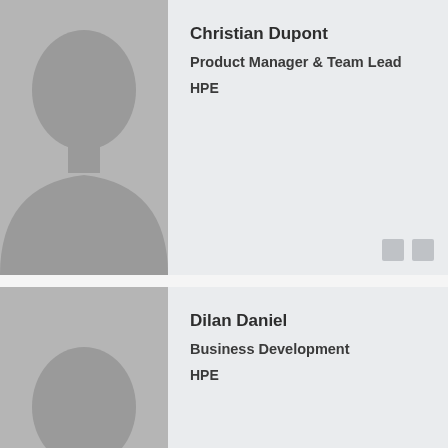[Figure (photo): Placeholder silhouette photo for Christian Dupont]
Christian Dupont
Product Manager & Team Lead
HPE
[Figure (photo): Placeholder silhouette photo for Dilan Daniel]
Dilan Daniel
Business Development
HPE